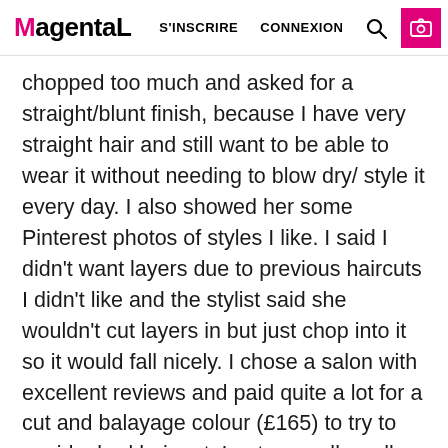MagentaL  S'INSCRIRE  CONNEXION
chopped too much and asked for a straight/blunt finish, because I have very straight hair and still want to be able to wear it without needing to blow dry/ style it every day. I also showed her some Pinterest photos of styles I like. I said I didn't want layers due to previous haircuts I didn't like and the stylist said she wouldn't cut layers in but just chop into it so it would fall nicely. I chose a salon with excellent reviews and paid quite a lot for a cut and balayage colour (£165) to try to avoid a bad hair cut. I got on really well with the stylist and really like the way it looks on the left side as it blends very nicely, but on the right side it looks randomly chopped, doesn't lie nicely and is very different to the left side- the same